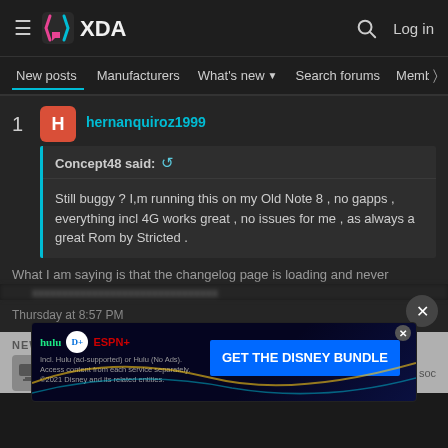XDA Developers — New posts | Manufacturers | What's new | Search forums | Members
1  hernanquiroz1999
Concept48 said:
Still buggy ? I,m running this on my Old Note 8 , no gapps , everything incl 4G works great , no issues for me , as always a great Rom by Stricted .
What I am saying is that the changelog page is loading and never
Thursday at 8:57 PM
NEW POSTS
[Figure (screenshot): Disney Bundle advertisement banner showing Hulu, Disney+, and ESPN+ logos with GET THE DISNEY BUNDLE call to action]